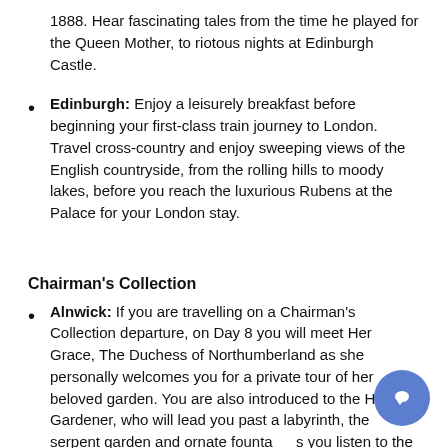1888. Hear fascinating tales from the time he played for the Queen Mother, to riotous nights at Edinburgh Castle.
Edinburgh: Enjoy a leisurely breakfast before beginning your first-class train journey to London. Travel cross-country and enjoy sweeping views of the English countryside, from the rolling hills to moody lakes, before you reach the luxurious Rubens at the Palace for your London stay.
Chairman's Collection
Alnwick: If you are travelling on a Chairman's Collection departure, on Day 8 you will meet Her Grace, The Duchess of Northumberland as she personally welcomes you for a private tour of her beloved garden. You are also introduced to the Head Gardener, who will lead you past a labyrinth, the serpent garden and ornate fountains you listen to the fascinating story of how The Duchess restored this exquisite garden to its former 18th century